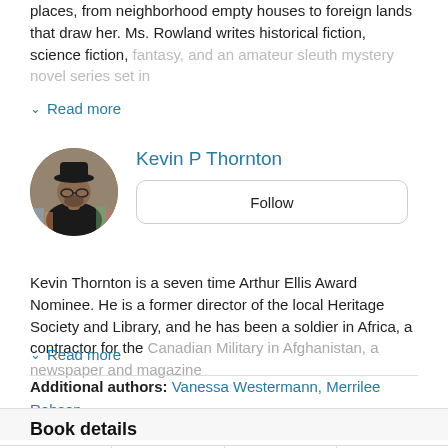places, from neighborhood empty houses to foreign lands that draw her. Ms. Rowland writes historical fiction, science fiction, fantasy, and an amateur sleuth mystery novel series set in
Read more
Kevin P Thornton
[Figure (photo): Circular profile photo of Kevin P Thornton, a man wearing a black hat and glasses, with bookshelves in the background]
Follow
Kevin Thornton is a seven time Arthur Ellis Award Nominee. He is a former director of the local Heritage Society and Library, and he has been a soldier in Africa, a contractor for the Canadian Military in Afghanistan, a newspaper and magazine
Read more
Additional authors: Vanessa Westermann, Merrilee Robson and 3 more
Book details